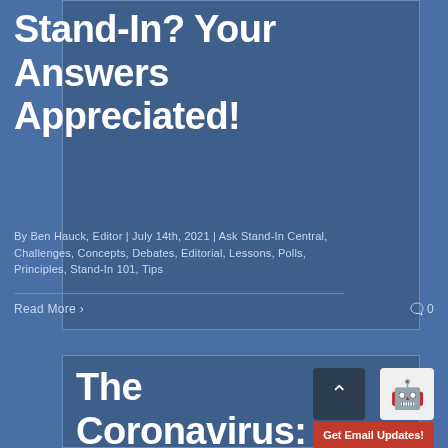Stand-In? Your Answers Appreciated!
By Ben Hauck, Editor | July 14th, 2021 | Ask Stand-In Central, Challenges, Concepts, Debates, Editorial, Lessons, Polls, Principles, Stand-In 101, Tips
Read More >
0
The Coronavirus: